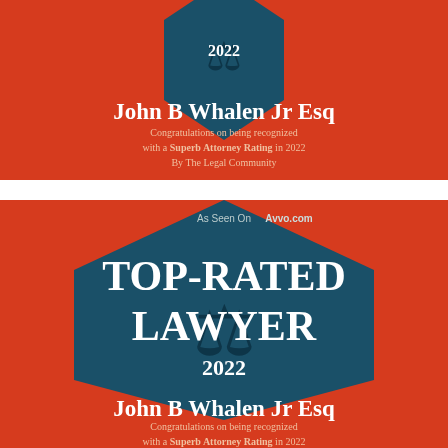[Figure (illustration): Top-Rated Lawyer 2022 Avvo badge (cropped top) for John B Whalen Jr Esq with red background and teal diamond shape containing scales of justice. Text: 2022, John B Whalen Jr Esq, Congratulations on being recognized with a Superb Attorney Rating in 2022 By The Legal Community]
[Figure (illustration): Top-Rated Lawyer 2022 Avvo badge (full) for John B Whalen Jr Esq with red background and teal diamond shape containing scales of justice. Text: As Seen On Avvo.com, TOP-RATED LAWYER 2022, John B Whalen Jr Esq, Congratulations on being recognized with a Superb Attorney Rating in 2022 By The Legal Community]